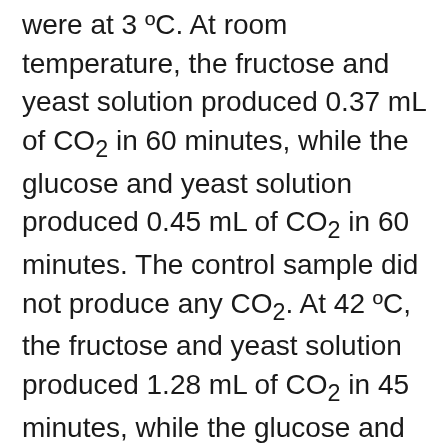were at 3 ºC. At room temperature, the fructose and yeast solution produced 0.37 mL of CO₂ in 60 minutes, while the glucose and yeast solution produced 0.45 mL of CO₂ in 60 minutes. The control sample did not produce any CO₂. At 42 ºC, the fructose and yeast solution produced 1.28 mL of CO₂ in 45 minutes, while the glucose and yeast solution produced 1.33 mL of CO₂ in 45 minutes. Again, the control group did not produce any CO₂. Temperature had a great impact of the production of CO₂. When chilled, the solutions did not even produce any CO₂ at all, but when